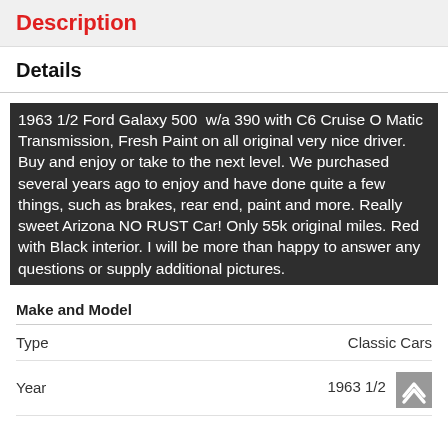Description
Details
1963 1/2 Ford Galaxy 500  w/a 390 with C6 Cruise O Matic Transmission, Fresh Paint on all original very nice driver. Buy and enjoy or take to the next level. We purchased several years ago to enjoy and have done quite a few things, such as brakes, rear end, paint and more. Really sweet Arizona NO RUST Car! Only 55k original miles. Red with Black interior. I will be more than happy to answer any questions or supply additional pictures.
| Make and Model |  |
| --- | --- |
| Type | Classic Cars |
| Year | 1963 1/2 |